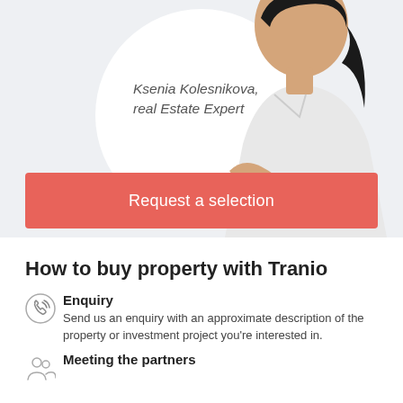[Figure (photo): Photo of Ksenia Kolesnikova, a woman in a white shirt, with a circular white background overlay and light gray background]
Ksenia Kolesnikova, real Estate Expert
Request a selection
How to buy property with Tranio
Enquiry – Send us an enquiry with an approximate description of the property or investment project you're interested in.
Meeting the partners